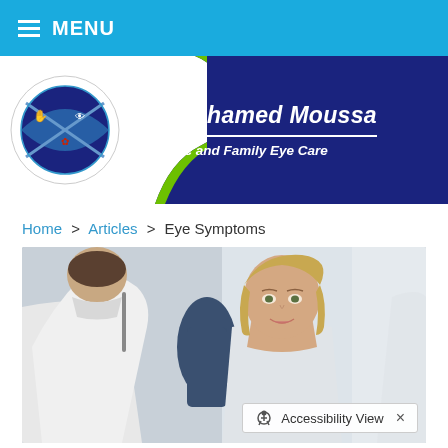MENU
[Figure (logo): Dr. Mohamed Moussa Pediatric and Family Eye Care logo banner with dark blue background, green wave, and eye-shaped emblem]
Home > Articles > Eye Symptoms
[Figure (photo): An eye doctor examining a female patient in a clinical setting. The doctor is seen from behind in a white coat, the patient is a young woman with light hair smiling.]